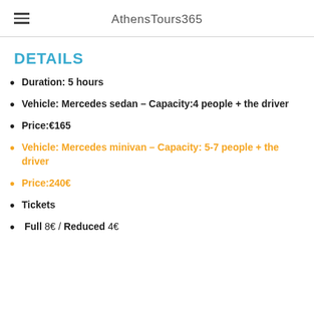AthensTours365
DETAILS
Duration: 5 hours
Vehicle: Mercedes sedan – Capacity:4 people + the driver
Price:€165
Vehicle: Mercedes minivan – Capacity: 5-7 people + the driver
Price:240€
Tickets
Full 8€ / Reduced 4€